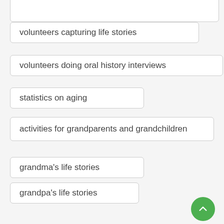volunteers capturing life stories
volunteers doing oral history interviews
statistics on aging
activities for grandparents and grandchildren
grandma's life stories
grandpa's life stories
memories of grandparents
tell us a story grandma
tell us a story grandpa